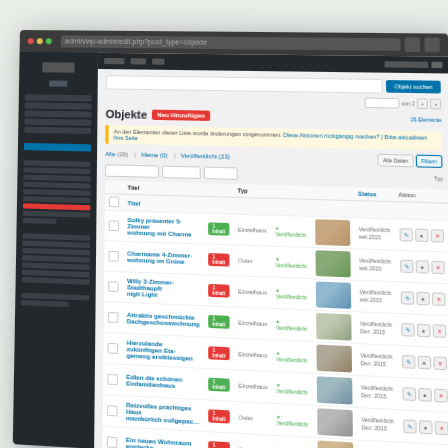[Figure (screenshot): WordPress admin back-end screenshot showing a real estate property listing management page ('Objekte') with a dark sidebar navigation, admin toolbar, filter controls, and a table listing multiple property entries with thumbnails, status badges (green/red), dates, and action buttons. The screenshot is shown in a perspective-transformed browser window on a light green background.]